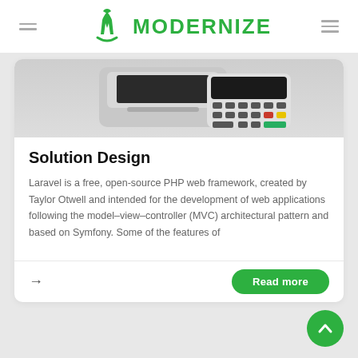MODERNIZE
[Figure (photo): Point-of-sale terminal devices on a gray background]
Solution Design
Laravel is a free, open-source PHP web framework, created by Taylor Otwell and intended for the development of web applications following the model–view–controller (MVC) architectural pattern and based on Symfony. Some of the features of
Read more